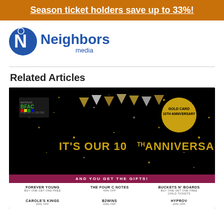Season ticket holders save up to 33%!
[Figure (logo): Neighbors Media logo — blue stylized N with neighbor figure, blue bold text 'Neighbors' and smaller 'media']
[Figure (advertisement): Batavia Fine Arts Centre 10th Anniversary advertisement. Black background with gold sparkles and banner bunting. Text: IT'S OUR 10TH ANNIVERSARY. AND YOU GET THE GIFTS! Shows: FOREVER YOUNG (buy one get one free), THE FOUR C NOTES (40% off), BUCKETS N' BOARDS (buy one get one free child tickets), CAROLE'S KINGS (33% off), B2WINS (33% off), HYPROV (10% off)]
Related Articles